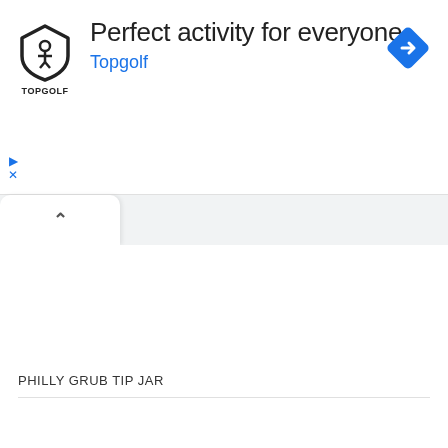[Figure (screenshot): Topgolf advertisement banner with shield logo, text 'Perfect activity for everyone', blue link text 'Topgolf', navigation diamond icon on the right, and play/close controls on the left]
PHILLY GRUB TIP JAR